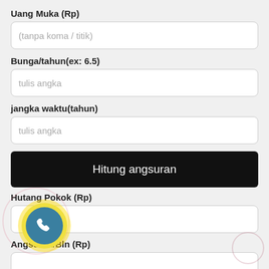Uang Muka (Rp)
(tanpa koma / titik)
Bunga/tahun(ex: 6.5)
tulis angka
jangka waktu(tahun)
tulis angka
Hitung angsuran
Hutang Pokok (Rp)
Angsuran/Bln (Rp)
Pembayaran Pertama (Rp)